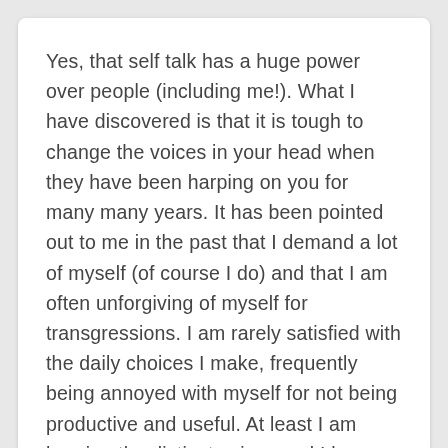Yes, that self talk has a huge power over people (including me!). What I have discovered is that it is tough to change the voices in your head when they have been harping on you for many many years. It has been pointed out to me in the past that I demand a lot of myself (of course I do) and that I am often unforgiving of myself for transgressions. I am rarely satisfied with the daily choices I make, frequently being annoyed with myself for not being productive and useful. At least I am hearing the distinct voices and I have started to question their authority over me! Remember the bumper sticker from the 1960's – Question Authority. Yup, I am questioning the know it all voices in